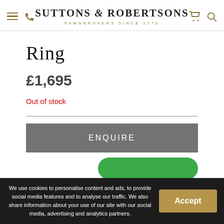Suttons & Robertsons — Pawnbrokers Since 1770
Ring
£1,695
Out of stock
ENQUIRE
We use cookies to personalise content and ads, to provide social media features and to analyse our traffic. We also share information about your use of our site with our social media, advertising and analytics partners.
Accept